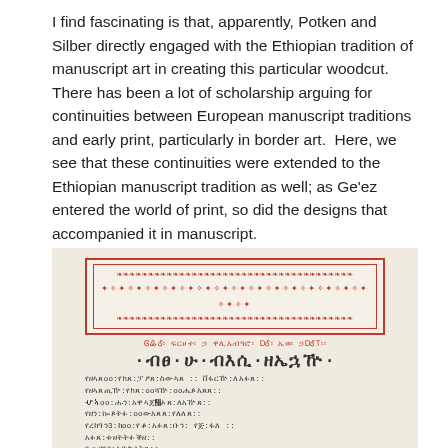I find fascinating is that, apparently, Potken and Silber directly engaged with the Ethiopian tradition of manuscript art in creating this particular woodcut.  There has been a lot of scholarship arguing for continuities between European manuscript traditions and early print, particularly in border art.  Here, we see that these continuities were extended to the Ethiopian manuscript tradition as well; as Ge'ez entered the world of print, so did the designs that accompanied it in manuscript.
[Figure (photo): A photograph of an open manuscript or early printed book page featuring Ge'ez (Ethiopian) script. The page shows a decorative red border with intricate geometric/woven patterns at the top, followed by red text in a smaller script, then a large bold title in Ge'ez, and multiple lines of smaller Ge'ez text below. The background is aged cream/beige paper.]